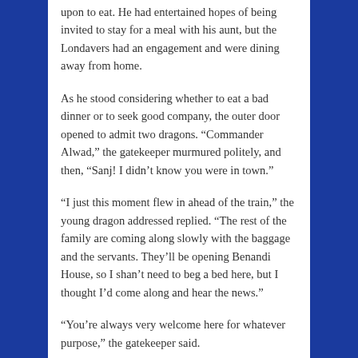upon to eat. He had entertained hopes of being invited to stay for a meal with his aunt, but the Londavers had an engagement and were dining away from home.
As he stood considering whether to eat a bad dinner or to seek good company, the outer door opened to admit two dragons. “Commander Alwad,” the gatekeeper murmured politely, and then, “Sanj! I didn’t know you were in town.”
“I just this moment flew in ahead of the train,” the young dragon addressed replied. “The rest of the family are coming along slowly with the baggage and the servants. They’ll be opening Benandi House, so I shan’t need to beg a bed here, but I thought I’d come along and hear the news.”
“You’re always very welcome here for whatever purpose,” the gatekeeper said.
Marcanil turned around to confirm his suspicions. The elegant bronze dragon the gatekeeper casually addressed as “Sanj” was indeed his own cousin the